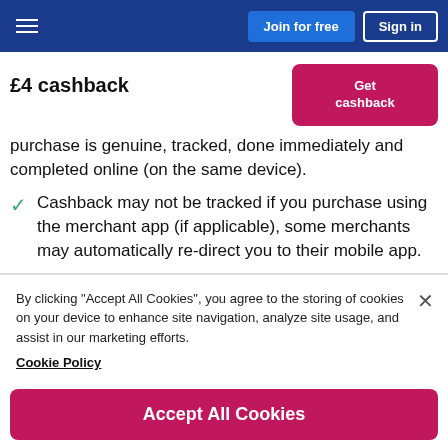Join for free | Sign in
£4 cashback
purchase is genuine, tracked, done immediately and completed online (on the same device).
Cashback may not be tracked if you purchase using the merchant app (if applicable), some merchants may automatically re-direct you to their mobile app.
By clicking "Accept All Cookies", you agree to the storing of cookies on your device to enhance site navigation, analyze site usage, and assist in our marketing efforts. Cookie Policy
Accept All Cookies
Cookies Settings